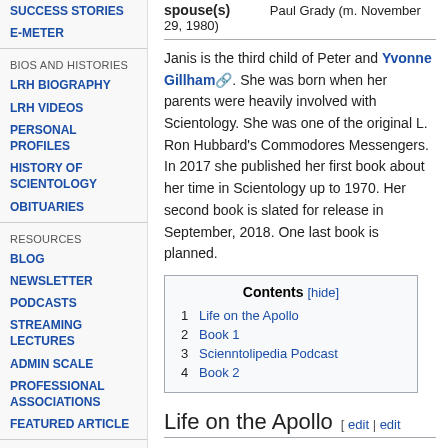SUCCESS STORIES
E-METER
BIOS and HISTORIES
LRH BIOGRAPHY
LRH VIDEOS
PERSONAL PROFILES
HISTORY of SCIENTOLOGY
OBITUARIES
RESOURCES
BLOG
NEWSLETTER
PODCASTS
STREAMING LECTURES
ADMIN SCALE
PROFESSIONAL ASSOCIATIONS
FEATURED ARTICLE
HELP AND SUPPORT
DONATE
Paul Grady (m. November 29, 1980)
Janis is the third child of Peter and Yvonne Gillham. She was born when her parents were heavily involved with Scientology. She was one of the original L. Ron Hubbard's Commodores Messengers. In 2017 she published her first book about her time in Scientology up to 1970. Her second book is slated for release in September, 2018. One last book is planned.
| Contents [hide] |
| --- |
| 1 Life on the Apollo |
| 2 Book 1 |
| 3 Scienntolipedia Podcast |
| 4 Book 2 |
Life on the Apollo [ edit | edit